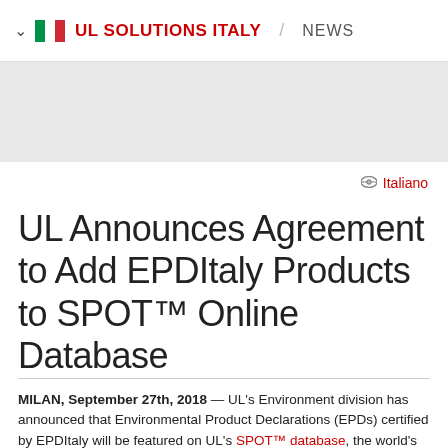UL SOLUTIONS ITALY / NEWS
UL Announces Agreement to Add EPDItaly Products to SPOT™ Online Database
Italiano
MILAN, September 27th, 2018 — UL's Environment division has announced that Environmental Product Declarations (EPDs) certified by EPDItaly will be featured on UL's SPOT™ database, the world's largest, credible web-based source for product sustainability information